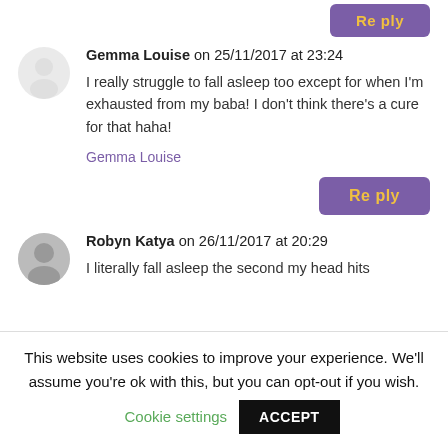Gemma Louise on 25/11/2017 at 23:24 — I really struggle to fall asleep too except for when I'm exhausted from my baba! I don't think there's a cure for that haha! — Gemma Louise
Reply
Robyn Katya on 26/11/2017 at 20:29 — I literally fall asleep the second my head hits
This website uses cookies to improve your experience. We'll assume you're ok with this, but you can opt-out if you wish. Cookie settings ACCEPT